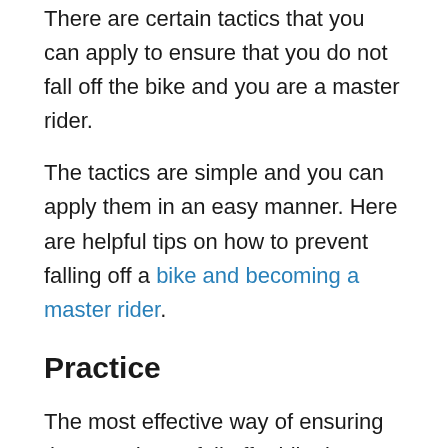There are certain tactics that you can apply to ensure that you do not fall off the bike and you are a master rider.
The tactics are simple and you can apply them in an easy manner. Here are helpful tips on how to prevent falling off a bike and becoming a master rider.
Practice
The most effective way of ensuring that you do not fall off a bike is to ensure you practice a lot. This